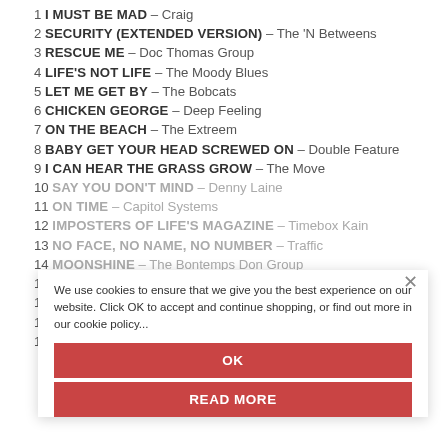1 I MUST BE MAD – Craig
2 SECURITY (extended version) – The 'N Betweens
3 RESCUE ME – Doc Thomas Group
4 LIFE'S NOT LIFE – The Moody Blues
5 LET ME GET BY – The Bobcats
6 CHICKEN GEORGE – Deep Feeling
7 ON THE BEACH – The Extreem
8 BABY GET YOUR HEAD SCREWED ON – Double Feature
9 I CAN HEAR THE GRASS GROW – The Move
10 SAY YOU DON'T MIND – Denny Laine
11 ON TIME – Capitol Systems
12 IMPOSTERS OF LIFE'S MAGAZINE – Timebox Kain
13 NO FACE, NO NAME, NO NUMBER – Traffic
14 MOONSHINE – The Bontemps Don Group
15
16 DON'T LEAVE ME IN THE DARK – Young Blood
17
18 NSU – Ideal Milk
We use cookies to ensure that we give you the best experience on our website. Click OK to accept and continue shopping, or find out more in our cookie policy...